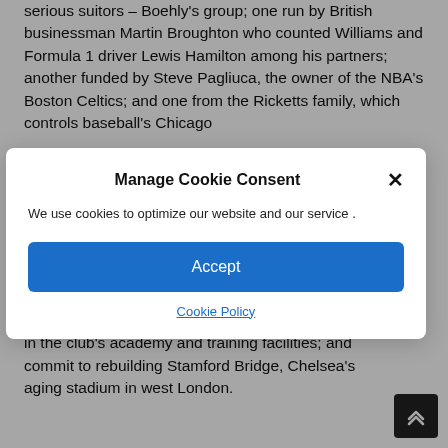serious suitors – Boehly's group; one run by British businessman Martin Broughton who counted Williams and Formula 1 driver Lewis Hamilton among his partners; another funded by Steve Pagliuca, the owner of the NBA's Boston Celtics; and one from the Ricketts family, which controls baseball's Chicago
Manage Cookie Consent
We use cookies to optimize our website and our service .
Accept
Cookie Policy
on the club's women's team; investing millions more in the club's academy and training facilities; and commit to rebuilding Stamford Bridge, Chelsea's aging stadium in west London.